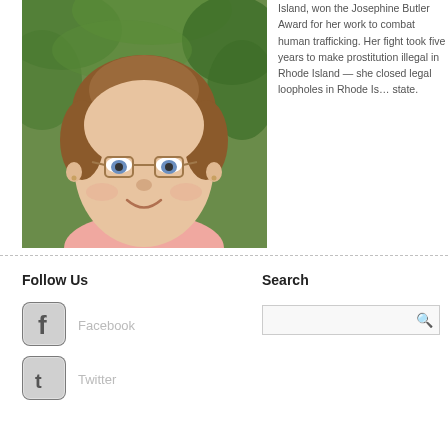[Figure (photo): Portrait photo of a woman with short brown hair and glasses, smiling, wearing a pink top, with green foliage in background]
Island, won the Josephine Butler Award for her work to combat human trafficking. Her fight took five years to make prostitution illegal in Rhode Island — she closed legal loopholes in Rhode Island on a state-by-state.
Follow Us
Search
[Figure (logo): Facebook social media icon button]
Facebook
[Figure (logo): Twitter social media icon button]
Twitter